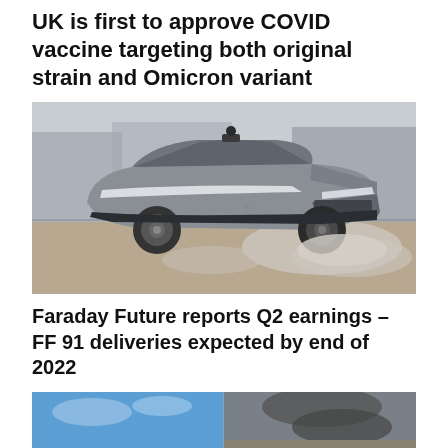UK is first to approve COVID vaccine targeting both original strain and Omicron variant
[Figure (photo): An electric SUV car (Faraday Future FF 91) doing a high-speed maneuver on a test track, with smoke/dust coming from the tires. The car is silver/grey with sensor equipment on the roof. Background shows industrial buildings.]
Faraday Future reports Q2 earnings – FF 91 deliveries expected by end of 2022
[Figure (photo): Partial view of another news story image showing blue sky and what appears to be a rocket launch or similar event with dark smoke.]